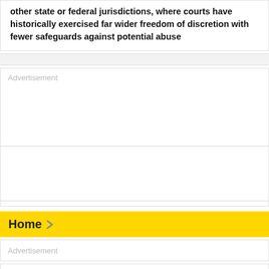other state or federal jurisdictions, where courts have historically exercised far wider freedom of discretion with fewer safeguards against potential abuse
[Figure (other): Advertisement placeholder block with two subdivisions separated by horizontal lines]
Home
[Figure (other): Advertisement placeholder block below Home navigation bar]
[Figure (other): Thin white bar element]
[Figure (other): Gray footer area at bottom of page]